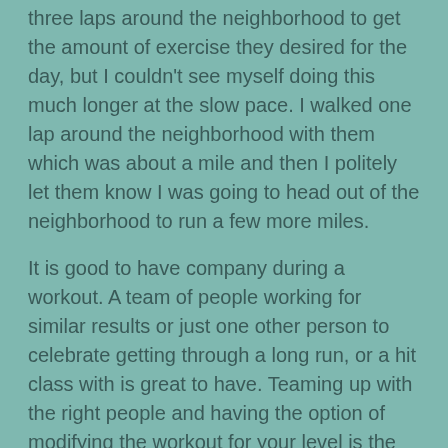three laps around the neighborhood to get the amount of exercise they desired for the day, but I couldn't see myself doing this much longer at the slow pace. I walked one lap around the neighborhood with them which was about a mile and then I politely let them know I was going to head out of the neighborhood to run a few more miles.
It is good to have company during a workout. A team of people working for similar results or just one other person to celebrate getting through a long run, or a hit class with is great to have. Teaming up with the right people and having the option of modifying the workout for your level is the key staying motivated and being successful in group exercise. If there isn't enough of a challenge for you or if you are being left behind, you will likely move on or feel like you failed if you are just starting out and may even quit.
Being in a class is great for different levels of exercise and being able to slow down your pace if needed or to modify the